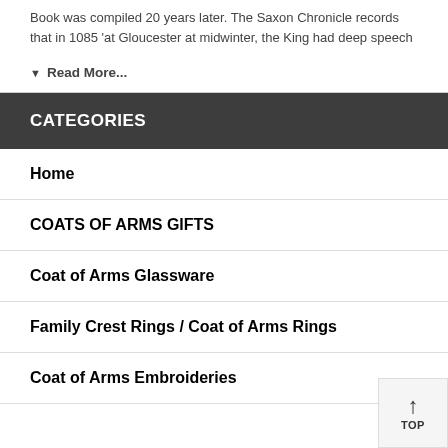Book was compiled 20 years later. The Saxon Chronicle records that in 1085 'at Gloucester at midwinter, the King had deep speech
▼  Read More...
CATEGORIES
Home
COATS OF ARMS GIFTS
Coat of Arms Glassware
Family Crest Rings / Coat of Arms Rings
Coat of Arms Embroideries